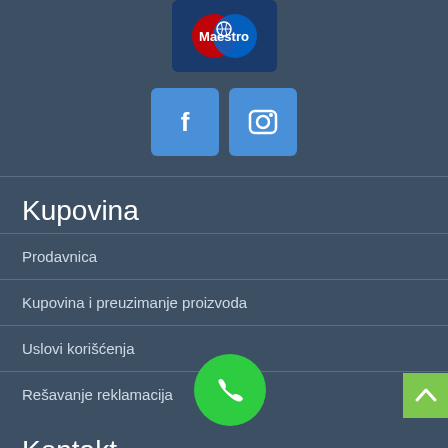[Figure (logo): Maestro payment card logo with blue and red overlapping circles on dark blue background]
[Figure (illustration): Social media icons: Facebook (f) and Instagram (camera) as square blue buttons]
Kupovina
Prodavnica
Kupovina i preuzimanje proizvoda
Uslovi korišćenja
Rešavanje reklamacija
Kontakt
[Figure (illustration): Green circular phone call button]
[Figure (illustration): Green square scroll-to-top button with upward chevron]